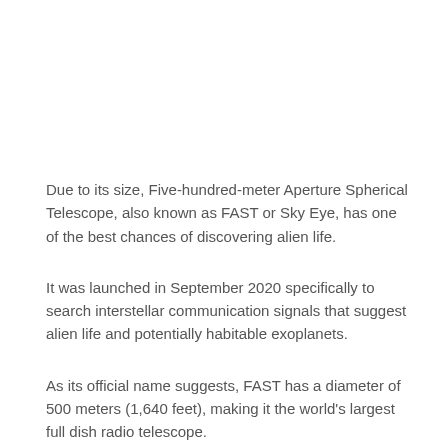Due to its size, Five-hundred-meter Aperture Spherical Telescope, also known as FAST or Sky Eye, has one of the best chances of discovering alien life.
It was launched in September 2020 specifically to search interstellar communication signals that suggest alien life and potentially habitable exoplanets.
As its official name suggests, FAST has a diameter of 500 meters (1,640 feet), making it the world's largest full dish radio telescope.